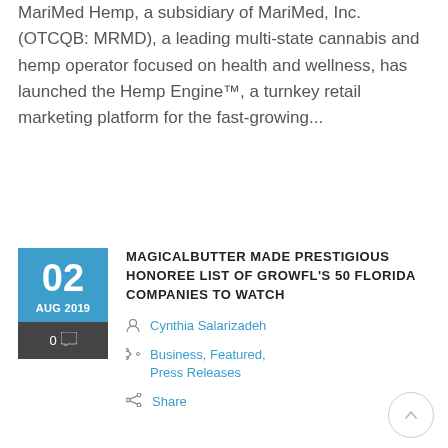MariMed Hemp, a subsidiary of MariMed, Inc. (OTCQB: MRMD), a leading multi-state cannabis and hemp operator focused on health and wellness, has launched the Hemp Engine™, a turnkey retail marketing platform for the fast-growing...
MAGICALBUTTER MADE PRESTIGIOUS HONOREE LIST OF GROWFL'S 50 FLORIDA COMPANIES TO WATCH
Cynthia Salarizadeh
Business, Featured, Press Releases
Share